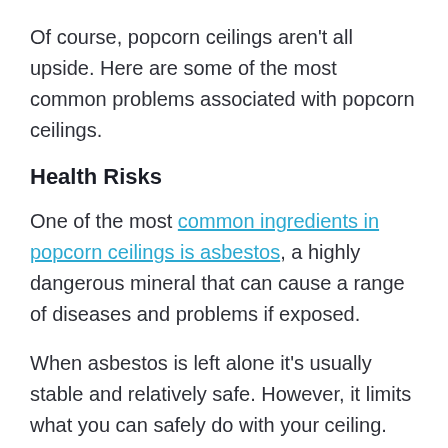Of course, popcorn ceilings aren't all upside. Here are some of the most common problems associated with popcorn ceilings.
Health Risks
One of the most common ingredients in popcorn ceilings is asbestos, a highly dangerous mineral that can cause a range of diseases and problems if exposed.
When asbestos is left alone it's usually stable and relatively safe. However, it limits what you can safely do with your ceiling.